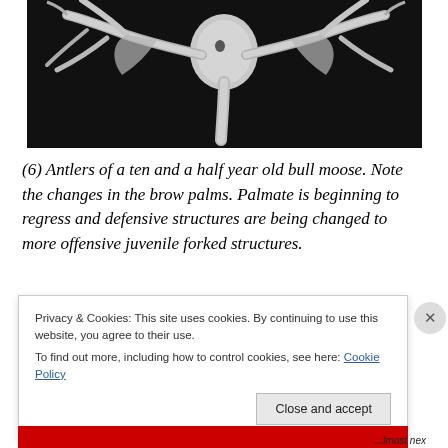[Figure (photo): Black and white photograph of antlers from a ten and a half year old bull moose, showing palmate brow palms with forked structures, viewed from above against a dark background.]
(6) Antlers of a ten and a half year old bull moose. Note the changes in the brow palms. Palmate is beginning to regress and defensive structures are being changed to more offensive juvenile forked structures.
Privacy & Cookies: This site uses cookies. By continuing to use this website, you agree to their use.
To find out more, including how to control cookies, see here: Cookie Policy